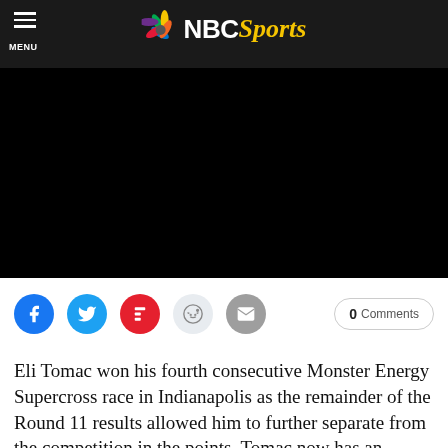MENU | NBC Sports
[Figure (screenshot): Black video player area]
[Figure (infographic): Social share buttons: Facebook, Twitter, Flipboard, Reddit, Email, and 0 Comments button]
Eli Tomac won his fourth consecutive Monster Energy Supercross race in Indianapolis as the remainder of the Round 11 results allowed him to further separate from the competition in the points. Tomac now has an almost